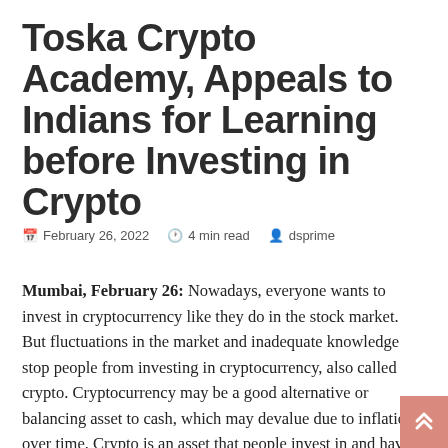Toska Crypto Academy, Appeals to Indians for Learning before Investing in Crypto
February 26, 2022  4 min read  dsprime
Mumbai, February 26: Nowadays, everyone wants to invest in cryptocurrency like they do in the stock market. But fluctuations in the market and inadequate knowledge stop people from investing in cryptocurrency, also called crypto. Cryptocurrency may be a good alternative or balancing asset to cash, which may devalue due to inflation over time. Crypto is an asset that people invest in and have